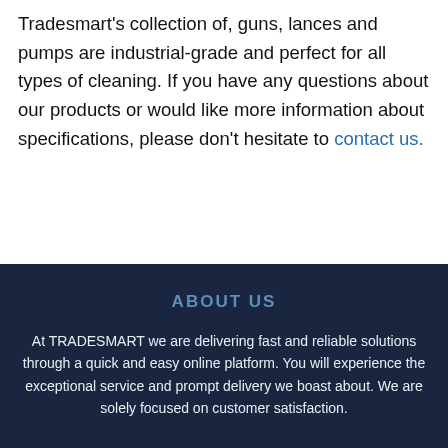Tradesmart's collection of, guns, lances and pumps are industrial-grade and perfect for all types of cleaning. If you have any questions about our products or would like more information about specifications, please don't hesitate to contact us.
ABOUT US
At TRADESMART we are delivering fast and reliable solutions through a quick and easy online platform. You will experience the exceptional service and prompt delivery we boast about. We are solely focused on customer satisfaction.